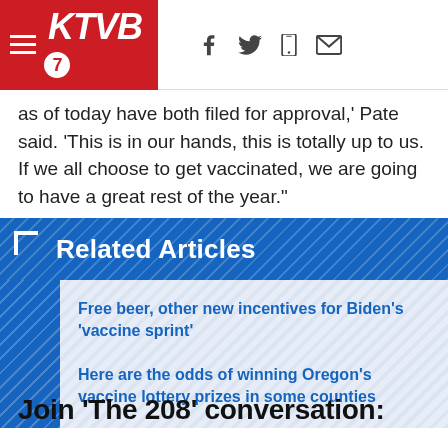KTVB7 navigation bar with hamburger menu, logo, and social icons (f, bird/twitter, mobile, mail)
as of today have both filed for approval,' Pate said. 'This is in our hands, this is totally up to us. If we all choose to get vaccinated, we are going to have a great rest of the year.'
Related Articles
Free beer, other new incentives for Biden's 'vaccine sprint'
Here are the odds of winning Oregon's vaccine lottery prizes in some counties
Join 'The 208' conversation: